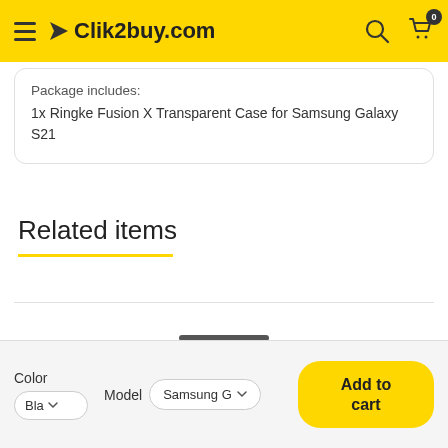Clik2buy.com
Package includes:
1x Ringke Fusion X Transparent Case for Samsung Galaxy S21
Related items
Color
Bla
Model
Samsung G
Add to cart